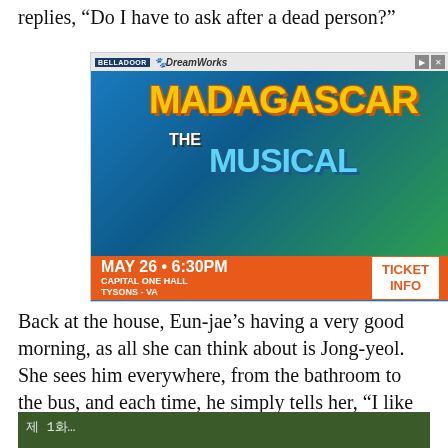replies, “Do I have to ask after a dead person?”
[Figure (photo): Advertisement for Madagascar The Musical by DreamWorks. Shows costumed performers as Madagascar characters. Event details: MAY 26 • 6:30PM, CAPITAL ONE HALL, TYSONS - VA. Ticket Info button.]
Back at the house, Eun-jae’s having a very good morning, as all she can think about is Jong-yeol. She sees him everywhere, from the bathroom to the bus, and each time, he simply tells her, “I like you,” causing her to giggle and smile to herself.
[Figure (photo): Partial image visible at bottom of page, appears to be a scene from the show or related content.]